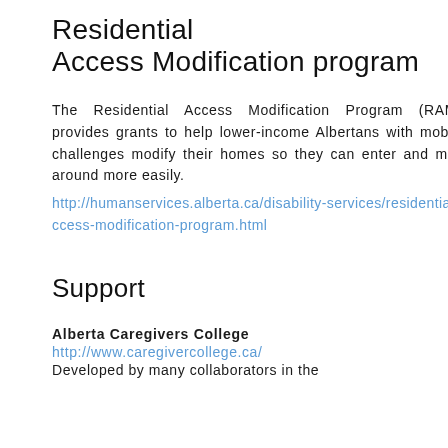Residential Access Modification program
The Residential Access Modification Program (RAMP) provides grants to help lower-income Albertans with mobility challenges modify their homes so they can enter and move around more easily.
http://humanservices.alberta.ca/disability-services/residential-access-modification-program.html
Support
Alberta Caregivers College
http://www.caregivercollege.ca/
Developed by many collaborators in the